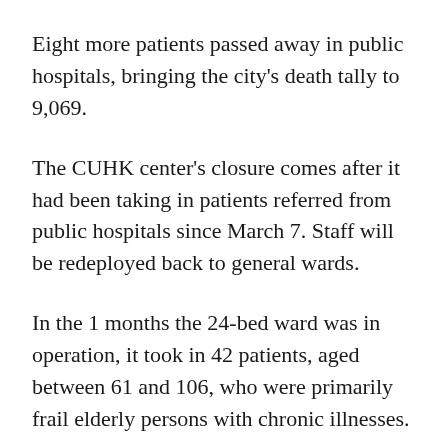Eight more patients passed away in public hospitals, bringing the city's death tally to 9,069.
The CUHK center's closure comes after it had been taking in patients referred from public hospitals since March 7. Staff will be redeployed back to general wards.
In the 1 months the 24-bed ward was in operation, it took in 42 patients, aged between 61 and 106, who were primarily frail elderly persons with chronic illnesses.
The average stay was 17 days, five patients were transferred back to hospitals due to